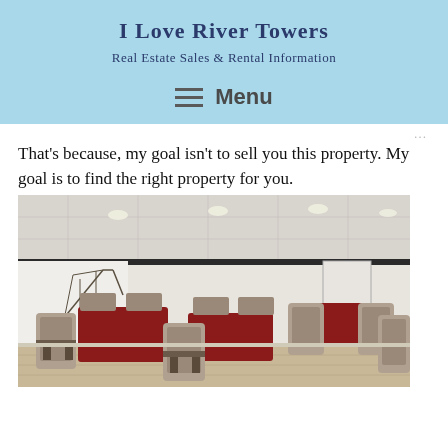I Love River Towers
Real Estate Sales & Rental Information
Menu
That's because, my goal isn't to sell you this property. My goal is to find the right property for you.
[Figure (photo): Interior room photo showing a dining or meeting room with red tablecloth-covered tables, patterned upholstered chairs, recessed ceiling lights, white walls with a decorative bridge wall sculpture, and light wood flooring.]